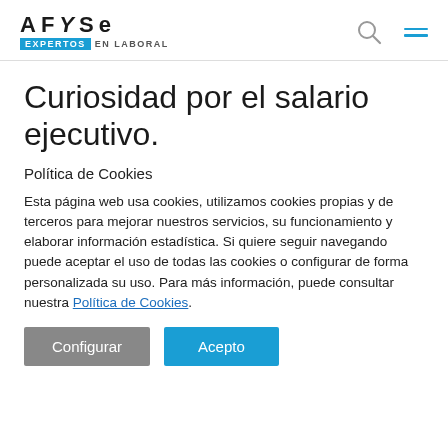AFYSE EXPERTOS EN LABORAL
Curiosidad por el salario ejecutivo.
Política de Cookies
Esta página web usa cookies, utilizamos cookies propias y de terceros para mejorar nuestros servicios, su funcionamiento y elaborar información estadística. Si quiere seguir navegando puede aceptar el uso de todas las cookies o configurar de forma personalizada su uso. Para más información, puede consultar nuestra Política de Cookies.
Configurar | Acepto